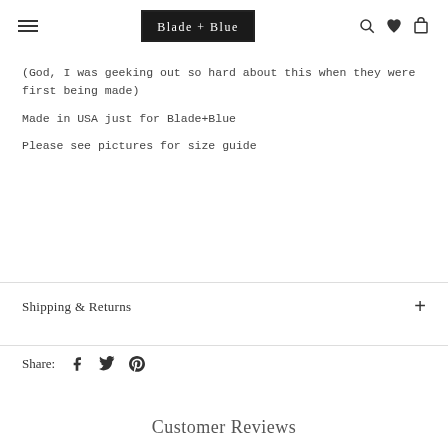Blade + Blue — navigation header with hamburger menu, logo, search, heart, and cart icons
(God, I was geeking out so hard about this when they were first being made)
Made in USA just for Blade+Blue
Please see pictures for size guide
Shipping & Returns
Share:
Customer Reviews